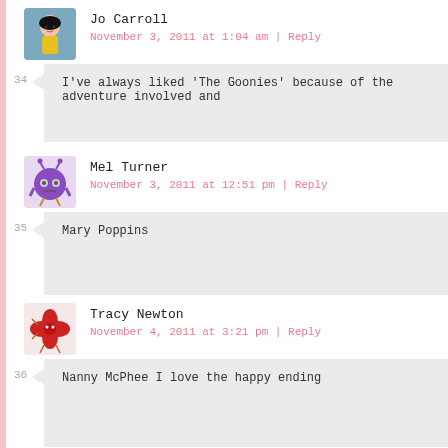[Figure (illustration): Avatar of Jo Carroll - animated girl character]
Jo Carroll
November 3, 2011 at 1:04 am | Reply
34
I've always liked 'The Goonies' because of the adventure involved and
[Figure (illustration): Avatar of Mel Turner - purple monster cartoon character]
Mel Turner
November 3, 2011 at 12:51 pm | Reply
35
Mary Poppins
[Figure (illustration): Avatar of Tracy Newton - red flower cartoon character]
Tracy Newton
November 4, 2011 at 3:21 pm | Reply
36
Nanny McPhee I love the happy ending